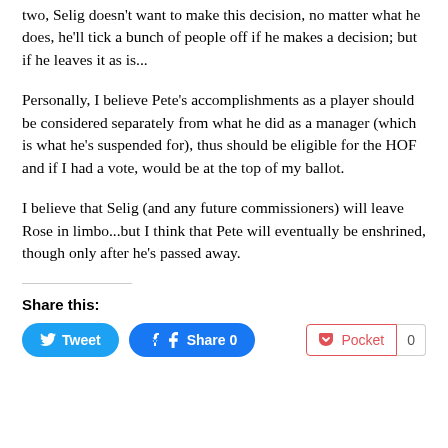two, Selig doesn't want to make this decision, no matter what he does, he'll tick a bunch of people off if he makes a decision; but if he leaves it as is...
Personally, I believe Pete's accomplishments as a player should be considered separately from what he did as a manager (which is what he's suspended for), thus should be eligible for the HOF and if I had a vote, would be at the top of my ballot.
I believe that Selig (and any future commissioners) will leave Rose in limbo...but I think that Pete will eventually be enshrined, though only after he's passed away.
Share this:
[Figure (other): Social sharing buttons: Tweet (Twitter), Share 0 (Facebook), Pocket with count 0]